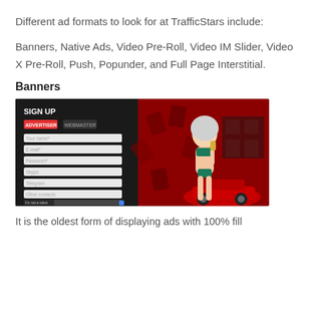Different ad formats to look for at TrafficStars include:
Banners, Native Ads, Video Pre-Roll, Video IM Slider, Video X Pre-Roll, Push, Popunder, and Full Page Interstitial.
Banners
[Figure (screenshot): Screenshot of TrafficStars sign up page with a red background, a registration form on the left, and an illustrated woman in a bikini on the right next to a red sports car.]
It is the oldest form of displaying ads with 100% fill